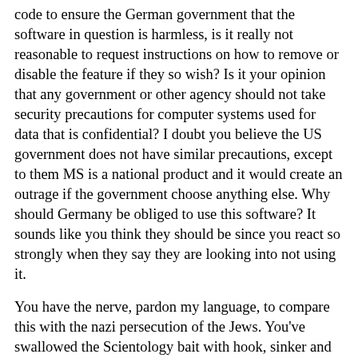code to ensure the German government that the software in question is harmless, is it really not reasonable to request instructions on how to remove or disable the feature if they so wish? Is it your opinion that any government or other agency should not take security precautions for computer systems used for data that is confidential? I doubt you believe the US government does not have similar precautions, except to them MS is a national product and it would create an outrage if the government choose anything else. Why should Germany be obliged to use this software? It sounds like you think they should be since you react so strongly when they say they are looking into not using it.
You have the nerve, pardon my language, to compare this with the nazi persecution of the Jews. You've swallowed the Scientology bait with hook, sinker and rod and I am writing this e-mail hoping I can stop you from swallowing the fisher too. Even the leaders of the Jews in Germany have reacted with disgust to such comparisons! If a criminal organization calls itself a religion they are supposed to become untouchable? Thanks, but I don't think so.
If you would not question, let's say, a Scientology run company to administrate your personal data that is totally your call, but the same goes for everybody else too. I believe I should have the right to know what products that would support this cult if I bought it, so that I can avoid buying it. I say that is my right as a consumer and would suspect it would be a the same for most Americans to